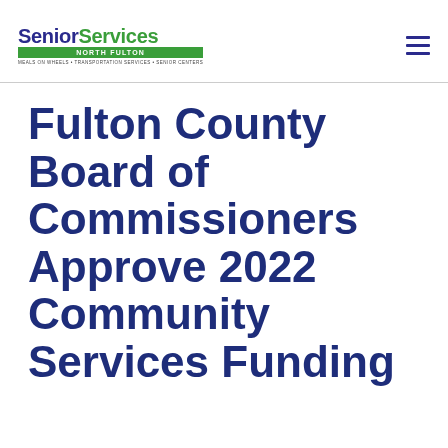[Figure (logo): Senior Services North Fulton logo with green text and green banner]
Fulton County Board of Commissioners Approve 2022 Community Services Funding